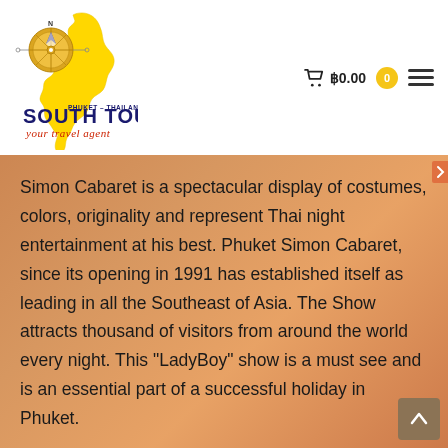[Figure (logo): South Tours Phuket Thailand travel agency logo with yellow Thailand map silhouette and compass rose, navy blue and red text]
฿0.00
Simon Cabaret is a spectacular display of costumes, colors, originality and represent Thai night entertainment at his best. Phuket Simon Cabaret, since its opening in 1991 has established itself as leading in all the Southeast of Asia. The Show attracts thousand of visitors from around the world every night. This "LadyBoy" show is a must see and is an essential part of a successful holiday in Phuket.